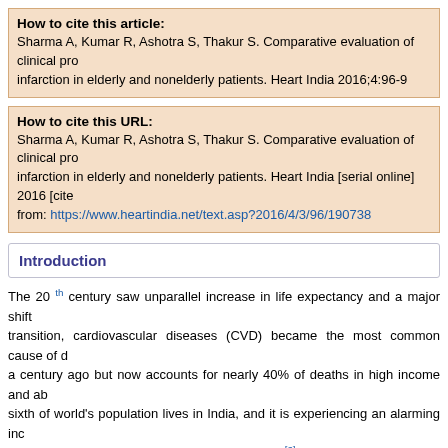How to cite this article: Sharma A, Kumar R, Ashotra S, Thakur S. Comparative evaluation of clinical profile of myocardial infarction in elderly and nonelderly patients. Heart India 2016;4:96-9
How to cite this URL: Sharma A, Kumar R, Ashotra S, Thakur S. Comparative evaluation of clinical profile of myocardial infarction in elderly and nonelderly patients. Heart India [serial online] 2016 [cited year month day]; from: https://www.heartindia.net/text.asp?2016/4/3/96/190738
Introduction
The 20th century saw unparallel increase in life expectancy and a major shift in epidemiological transition, cardiovascular diseases (CVD) became the most common cause of death. CVD was rare a century ago but now accounts for nearly 40% of deaths in high income and about one sixth of world's population lives in India, and it is experiencing an alarming increase. [2] Although there are very few studies on MI in elderly in India, population studies has shown that around 15-53% hospital admissions and reported around 60% of hospital admissions due to MI in elderly. [3]
Several factors contribute to the increased incidence of MI in older age,